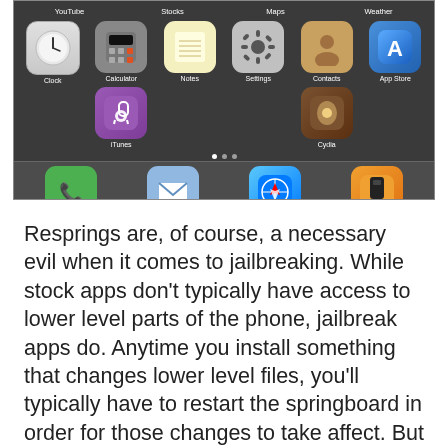[Figure (screenshot): iPhone home screen showing app icons including Clock, Calculator, Notes, Settings, Contacts, App Store, iTunes, Cydia, and dock with Phone, Mail, Safari, iPod]
Resprings are, of course, a necessary evil when it comes to jailbreaking. While stock apps don't typically have access to lower level parts of the phone, jailbreak apps do. Anytime you install something that changes lower level files, you'll typically have to restart the springboard in order for those changes to take affect. But what happens when your springboard starts resprining on its own? Or if your jailbroken iPhone starts crashing into safe mode? I know it can